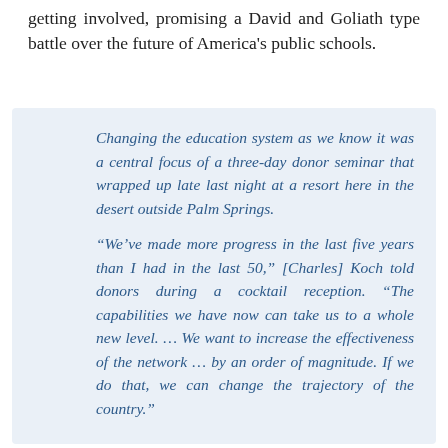getting involved, promising a David and Goliath type battle over the future of America's public schools.
Changing the education system as we know it was a central focus of a three-day donor seminar that wrapped up late last night at a resort here in the desert outside Palm Springs.

"We've made more progress in the last five years than I had in the last 50," [Charles] Koch told donors during a cocktail reception. "The capabilities we have now can take us to a whole new level. … We want to increase the effectiveness of the network … by an order of magnitude. If we do that, we can change the trajectory of the country."